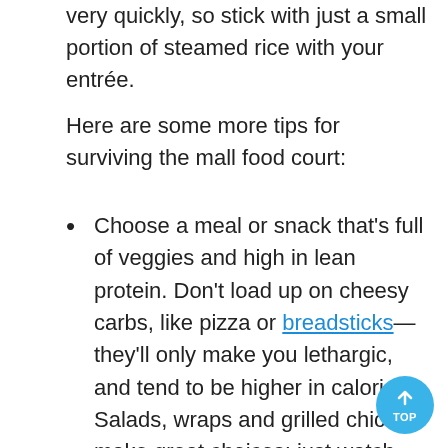very quickly, so stick with just a small portion of steamed rice with your entrée.
Here are some more tips for surviving the mall food court:
Choose a meal or snack that's full of veggies and high in lean protein. Don't load up on cheesy carbs, like pizza or breadsticks—they'll only make you lethargic, and tend to be higher in calories. Salads, wraps and grilled chicken make great choices; just watch your portions and go easy on the high-fat condiments.